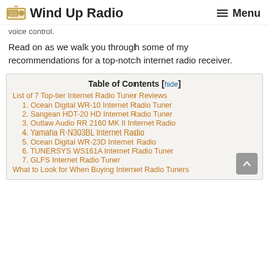Wind Up Radio | Menu
voice control.
Read on as we walk you through some of my recommendations for a top-notch internet radio receiver.
| Table of Contents |
| --- |
| List of 7 Top-tier Internet Radio Tuner Reviews |
| 1. Ocean Digital WR-10 Internet Radio Tuner |
| 2. Sangean HDT-20 HD Internet Radio Tuner |
| 3. Outlaw Audio RR 2160 MK II Internet Radio |
| 4. Yamaha R-N303BL Internet Radio |
| 5. Ocean Digital WR-23D Internet Radio |
| 6. TUNERSYS WS161A Internet Radio Tuner |
| 7. GLFS Internet Radio Tuner |
| What to Look for When Buying Internet Radio Tuners |